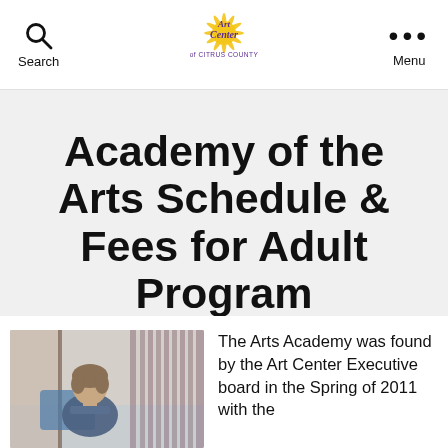Search | Art Center of Citrus County | Menu
Academy of the Arts Schedule & Fees for Adult Program
[Figure (photo): A person viewed from behind, seated, with short hair, in an art studio or classroom setting]
The Arts Academy was found by the Art Center Executive board in the Spring of 2011 with the